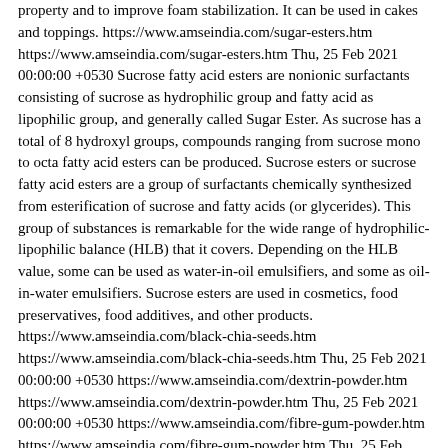property and to improve foam stabilization. It can be used in cakes and toppings. https://www.amseindia.com/sugar-esters.htm https://www.amseindia.com/sugar-esters.htm Thu, 25 Feb 2021 00:00:00 +0530 Sucrose fatty acid esters are nonionic surfactants consisting of sucrose as hydrophilic group and fatty acid as lipophilic group, and generally called Sugar Ester. As sucrose has a total of 8 hydroxyl groups, compounds ranging from sucrose mono to octa fatty acid esters can be produced. Sucrose esters or sucrose fatty acid esters are a group of surfactants chemically synthesized from esterification of sucrose and fatty acids (or glycerides). This group of substances is remarkable for the wide range of hydrophilic-lipophilic balance (HLB) that it covers. Depending on the HLB value, some can be used as water-in-oil emulsifiers, and some as oil-in-water emulsifiers. Sucrose esters are used in cosmetics, food preservatives, food additives, and other products. https://www.amseindia.com/black-chia-seeds.htm https://www.amseindia.com/black-chia-seeds.htm Thu, 25 Feb 2021 00:00:00 +0530 https://www.amseindia.com/dextrin-powder.htm https://www.amseindia.com/dextrin-powder.htm Thu, 25 Feb 2021 00:00:00 +0530 https://www.amseindia.com/fibre-gum-powder.htm https://www.amseindia.com/fibre-gum-powder.htm Thu, 25 Feb 2021 00:00:00 +0530 https://www.amseindia.com/flax-seeds.htm https://www.amseindia.com/flax-seeds.htm Thu, 25 Feb 2021 00:00:00 +0530 https://www.amseindia.com/glucomannan-